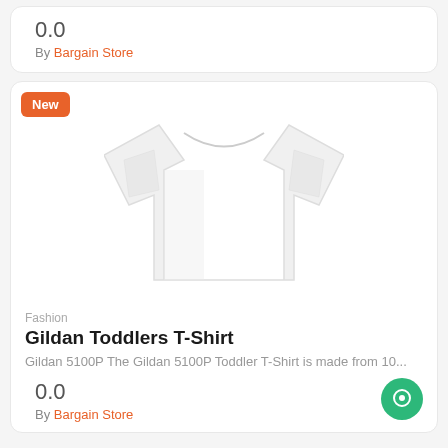0.0
By Bargain Store
[Figure (photo): White Gildan Toddlers T-Shirt product photo on white background, with a 'New' badge in the top-left corner]
Fashion
Gildan Toddlers T-Shirt
Gildan 5100P The Gildan 5100P Toddler T-Shirt is made from 10...
0.0
By Bargain Store